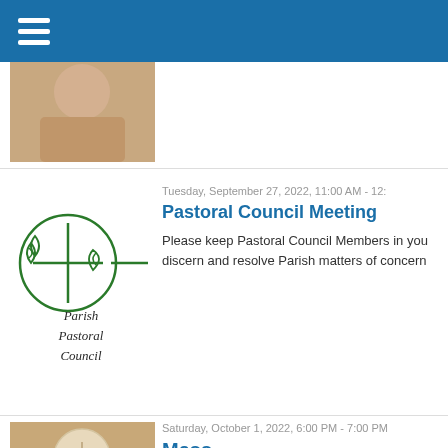Navigation menu (hamburger icon)
[Figure (photo): Partial photo of a person, visible neck/shoulders area, cropped]
Tuesday, September 27, 2022, 11:00 AM - 12:
Pastoral Council Meeting
[Figure (logo): Parish Pastoral Council logo — green circular emblem with fish symbols and a cross, handwritten-style text reading Parish Pastoral Council]
Please keep Pastoral Council Members in you discern and resolve Parish matters of concern
Saturday, October 1, 2022, 6:00 PM - 7:00 PM
Mass
[Figure (photo): Hands holding a communion host (eucharist), close-up photo]
All are invited to today's Mass.